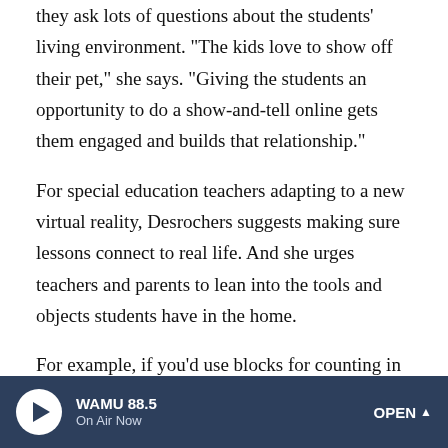they ask lots of questions about the students' living environment. "The kids love to show off their pet," she says. "Giving the students an opportunity to do a show-and-tell online gets them engaged and builds that relationship."
For special education teachers adapting to a new virtual reality, Desrochers suggests making sure lessons connect to real life. And she urges teachers and parents to lean into the tools and objects students have in the home.
For example, if you'd use blocks for counting in the classroom, use something like pasta. For a lesson about surface area, have students count how many tiles are in the kitchen, or how many steps it takes to get from one side of the room to the other. And for parents, she adds, don't forget
WAMU 88.5 On Air Now OPEN